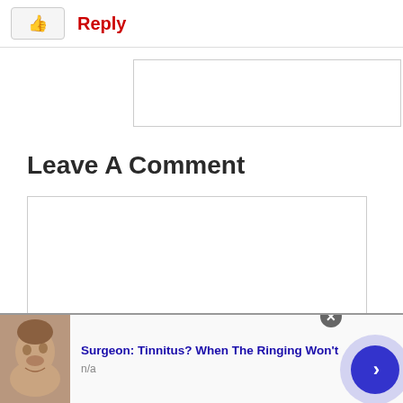[Figure (screenshot): Like button (thumbs up icon) and Reply button at the top of a comment section]
[Figure (screenshot): Empty text input area for a reply]
Leave A Comment
[Figure (screenshot): Large empty textarea for leaving a comment with resize handle]
[Figure (screenshot): Advertisement bar at bottom: Surgeon: Tinnitus? When The Ringing Won't, n/a, with a photo of a person, close button, and next arrow button]